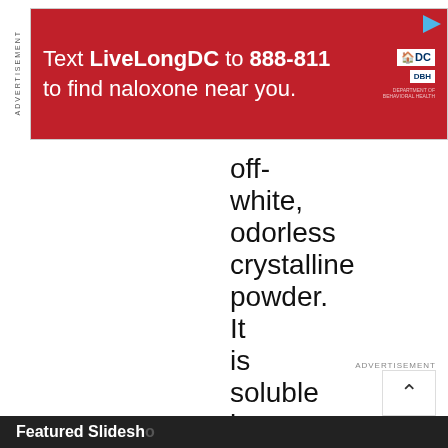[Figure (other): Red advertisement banner: Text LiveLongDC to 888-811 to find naloxone near you, with DC government and DBH logos]
off-white, odorless crystalline powder. It is soluble in water, slightly solu...
[Figure (other): Advertisement scroll-up button with upward chevron arrow]
Featured Slideshow